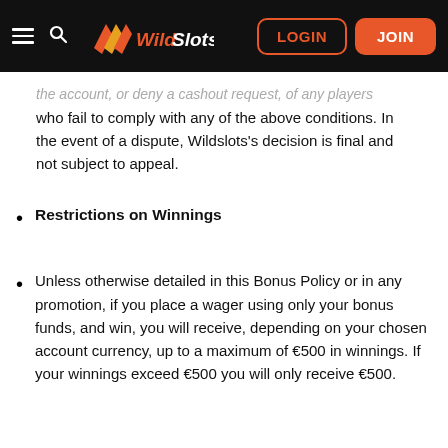WildSlots — LOGIN | JOIN
the account, or deny a cashout request, of any players who fail to comply with any of the above conditions. In the event of a dispute, Wildslots's decision is final and not subject to appeal.
Restrictions on Winnings
Unless otherwise detailed in this Bonus Policy or in any promotion, if you place a wager using only your bonus funds, and win, you will receive, depending on your chosen account currency, up to a maximum of €500 in winnings. If your winnings exceed €500 you will only receive €500.